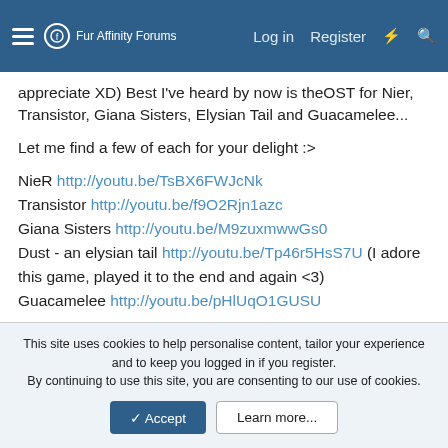Fur Affinity Forums | Log in  Register
appreciate XD) Best I've heard by now is theOST for Nier, Transistor, Giana Sisters, Elysian Tail and Guacamelee...
Let me find a few of each for your delight :>
NieR http://youtu.be/TsBX6FWJcNk
Transistor http://youtu.be/f9O2Rjn1azc
Giana Sisters http://youtu.be/M9zuxmwwGs0
Dust - an elysian tail http://youtu.be/Tp46r5HsS7U (I adore this game, played it to the end and again <3)
Guacamelee http://youtu.be/pHlUqO1GUSU
I have more osts in my library, but the ones for these games got my heart. ^^ Do give them a chance :3
This site uses cookies to help personalise content, tailor your experience and to keep you logged in if you register.
By continuing to use this site, you are consenting to our use of cookies.